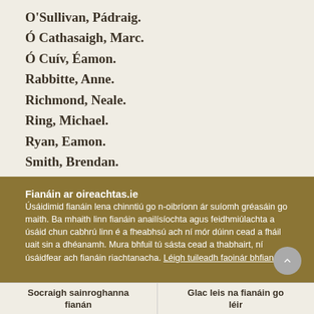O'Sullivan, Pádraig.
Ó Cathasaigh, Marc.
Ó Cuív, Éamon.
Rabbitte, Anne.
Richmond, Neale.
Ring, Michael.
Ryan, Eamon.
Smith, Brendan.
Smyth, Niamh.
Smyth, Ossian.
Fianáin ar oireachtas.ie
Úsáidimid fianáin lena chinntiú go n-oibríonn ár suíomh gréasáin go maith. Ba mhaith linn fianáin anailísíochta agus feidhmiúlachta a úsáid chun cabhrú linn é a fheabhsú ach ní mór dúinn cead a fháil uait sin a dhéanamh. Mura bhfuil tú sásta cead a thabhairt, ní úsáidfear ach fianáin riachtanacha. Léigh tuileadh faoinár bhfianáin
Socraigh sainroghanna fianán
Glac leis na fianáin go léir